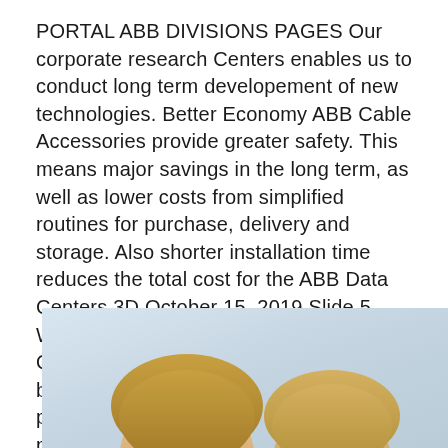PORTAL ABB DIVISIONS PAGES Our corporate research Centers enables us to conduct long term developement of new technologies. Better Economy ABB Cable Accessories provide greater safety. This means major savings in the long term, as well as lower costs from simplified routines for purchase, delivery and storage. Also shorter installation time reduces the total cost for the ABB Data Centers 3D October 15, 2019 Slide 5 What'snext? Release scheduled for Q1/2020 • Configurator for 3rd party busbar distribution systems with ABB products • Integration of additional ABB products (e.g.
[Figure (photo): Partial photo showing tops of two people's heads with light/blond hair against a light blue-grey background, cropped at bottom of page]